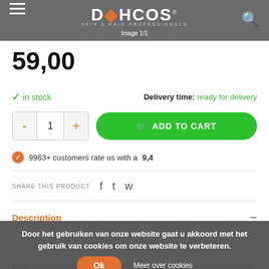DCHCOS SKIN & HAIR PROFESSIONALS | Image 1/1
59,00
✓ in stock   Delivery time: ready for delivery
- 1 +   ADD TO CART
9963+ customers rate us with a 9,4
SHARE THIS PRODUCT
Description
Door het gebruiken van onze website gaat u akkoord met het gebruik van cookies om onze website te verbeteren.
Perfecting prote... rich in active ingredients that protect the skin against UV rays, blue light and pollution. Invisible texture, second